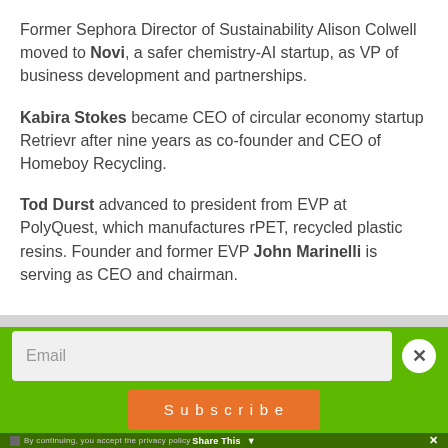Former Sephora Director of Sustainability Alison Colwell moved to Novi, a safer chemistry-AI startup, as VP of business development and partnerships.
Kabira Stokes became CEO of circular economy startup Retrievr after nine years as co-founder and CEO of Homeboy Recycling.
Tod Durst advanced to president from EVP at PolyQuest, which manufactures rPET, recycled plastic resins. Founder and former EVP John Marinelli is serving as CEO and chairman.
[Figure (other): Email subscription widget with green background, email input field, Subscribe button, close X button, privacy policy checkbox, and Share This footer bar]